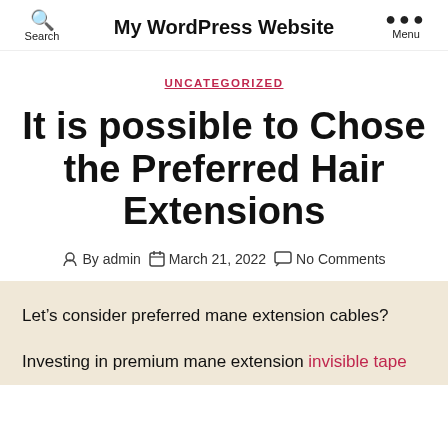Search  My WordPress Website  Menu
UNCATEGORIZED
It is possible to Chose the Preferred Hair Extensions
By admin  March 21, 2022  No Comments
Let’s consider preferred mane extension cables?
Investing in premium mane extension invisible tape